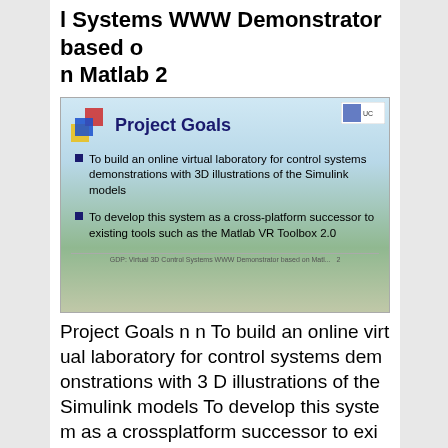l Systems WWW Demonstrator based on Matlab 2
[Figure (screenshot): Slide screenshot showing 'Project Goals' with two bullet points: (1) To build an online virtual laboratory for control systems demonstrations with 3D illustrations of the Simulink models; (2) To develop this system as a cross-platform successor to existing tools such as the Matlab VR Toolbox 2.0. Footer text: GDP: Virtual 3D Control Systems WWW Demonstrator based on Matl...]
Project Goals n n To build an online virtual laboratory for control systems demonstrations with 3 D illustrations of the Simulink models To develop this system as a crossplatform successor to existing tools such as the Matlab VR Toolbox 2. 0 GDP: Virtual 3 D Control Systems WWW Demonstrator based on Matlab 3